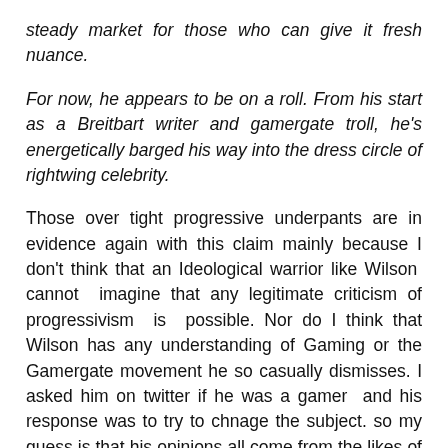steady market for those who can give it fresh nuance.
For now, he appears to be on a roll. From his start as a Breitbart writer and gamergate troll, he's energetically barged his way into the dress circle of rightwing celebrity.
Those over tight progressive underpants are in evidence again with this claim mainly because I don't think that an Ideological warrior like Wilson cannot imagine that any legitimate criticism of progressivism is possible. Nor do I think that Wilson has any understanding of Gaming or the Gamergate movement he so casually dismisses. I asked him on twitter if he was a gamer and his response was to try to chnage the subject. so my guess is that his opinions all come from the likes of Anita Sarkesiain and those of her ilk rather than him having any experience of the subculture or the experience of gaming